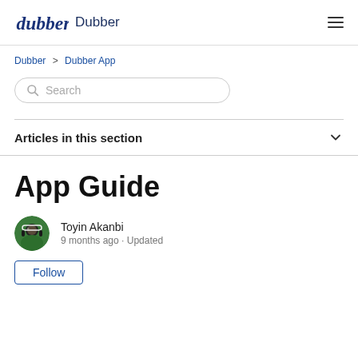dubber Dubber
Dubber > Dubber App
Search
Articles in this section
App Guide
Toyin Akanbi
9 months ago · Updated
Follow